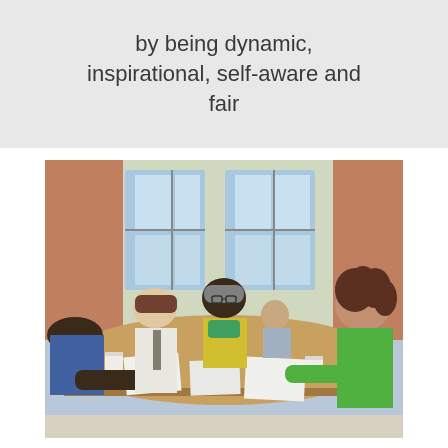by being dynamic, inspirational, self-aware and fair
[Figure (photo): Group of diverse professionals sitting around a table in a meeting or discussion, with papers and cups on the table, large windows in the background.]